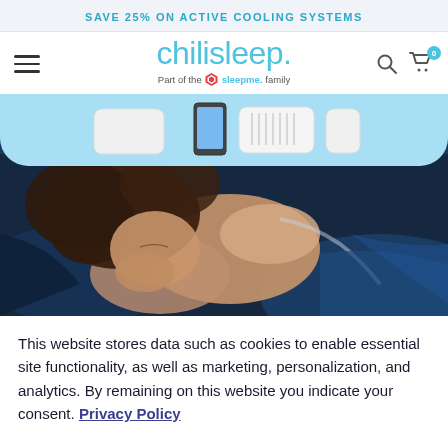SAVE 25% ON ACTIVE COOLING SYSTEMS
[Figure (screenshot): Chilisleep logo and navigation bar with hamburger menu, search icon, and cart icon showing 0 items. Tagline: Part of the sleepme family.]
[Figure (photo): Website hero image showing a woman sleeping peacefully on blue satin sheets with a product shot of a Chilisleep cooling device on a light blue background strip above.]
This website stores data such as cookies to enable essential site functionality, as well as marketing, personalization, and analytics. By remaining on this website you indicate your consent. Privacy Policy